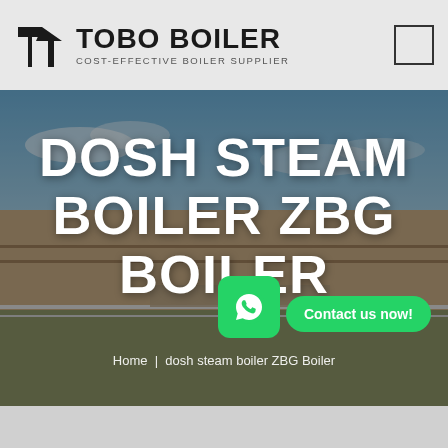[Figure (logo): TOBO BOILER logo with geometric icon and text 'COST-EFFECTIVE BOILER SUPPLIER']
[Figure (photo): Industrial boiler factory building exterior with blue sky, overlaid with large white bold text 'DOSH STEAM BOILER ZBG BOILER', a WhatsApp icon button, a green 'Contact us now!' button, and breadcrumb navigation 'Home | dosh steam boiler ZBG Boiler']